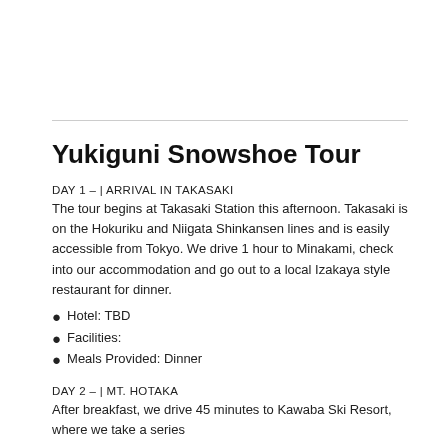Yukiguni Snowshoe Tour
DAY 1 –  | ARRIVAL IN TAKASAKI
The tour begins at Takasaki Station this afternoon. Takasaki is on the Hokuriku and Niigata Shinkansen lines and is easily accessible from Tokyo. We drive 1 hour to Minakami, check into our accommodation and go out to a local Izakaya style restaurant for dinner.
Hotel: TBD
Facilities:
Meals Provided: Dinner
DAY 2 – | MT. HOTAKA
After breakfast, we drive 45 minutes to Kawaba Ski Resort, where we take a series